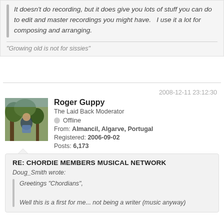It doesn't do recording, but it does give you lots of stuff you can do to edit and master recordings you might have.   I use it a lot for composing and arranging.
"Growing old is not for sissies"
2008-12-11 23:12:30
[Figure (photo): Avatar photo of Roger Guppy, outdoors scene with trees]
Roger Guppy
The Laid Back Moderator
Offline
From: Almancil, Algarve, Portugal
Registered: 2006-09-02
Posts: 6,173
RE: CHORDIE MEMBERS MUSICAL NETWORK
Doug_Smith wrote:
Greetings "Chordians",
Well this is a first for me... not being a writer (music anyway)